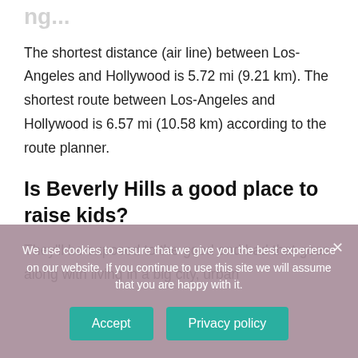The shortest distance (air line) between Los-Angeles and Hollywood is 5.72 mi (9.21 km). The shortest route between Los-Angeles and Hollywood is 6.57 mi (10.58 km) according to the route planner.
Is Beverly Hills a good place to raise kids?
They'll be exposed to the good and bad that goes along with living in a big city, urban
We use cookies to ensure that we give you the best experience on our website. If you continue to use this site we will assume that you are happy with it.